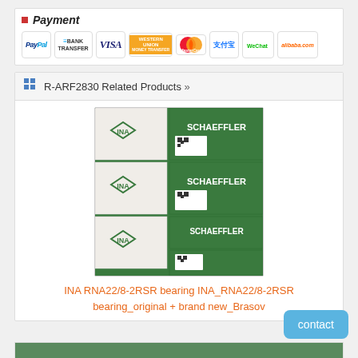Payment
[Figure (infographic): Payment method logos: PayPal, Bank Transfer, VISA, Western Union, MasterCard, Zhifubao (Alipay), WeChat, Alibaba.com]
R-ARF2830 Related Products »
[Figure (photo): Stacked green and white Schaeffler/INA bearing product boxes]
INA RNA22/8-2RSR bearing INA_RNA22/8-2RSR bearing_original + brand new_Brasov